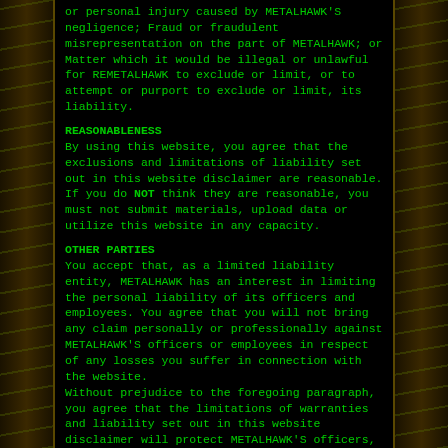or personal injury caused by METALHAWK'S negligence; Fraud or fraudulent misrepresentation on the part of METALHAWK; or Matter which it would be illegal or unlawful for REMETALHAWK to exclude or limit, or to attempt or purport to exclude or limit, its liability.
REASONABLENESS
By using this website, you agree that the exclusions and limitations of liability set out in this website disclaimer are reasonable. If you do NOT think they are reasonable, you must not submit materials, upload data or utilize this website in any capacity.
OTHER PARTIES
You accept that, as a limited liability entity, METALHAWK has an interest in limiting the personal liability of its officers and employees. You agree that you will not bring any claim personally or professionally against METALHAWK'S officers or employees in respect of any losses you suffer in connection with the website.
Without prejudice to the foregoing paragraph, you agree that the limitations of warranties and liability set out in this website disclaimer will protect METALHAWK'S officers, employees, agents, subsidiaries, successors, assigns and sub-contractors as well as METALHAWK.
Unenforceable Provisions
If any provision of this website disclaimer is, opr is found to be, unenforceable under applicable law, that will not affect the enforce ability of the other provisions of this website disclaimer.
{XFBMLSDK}